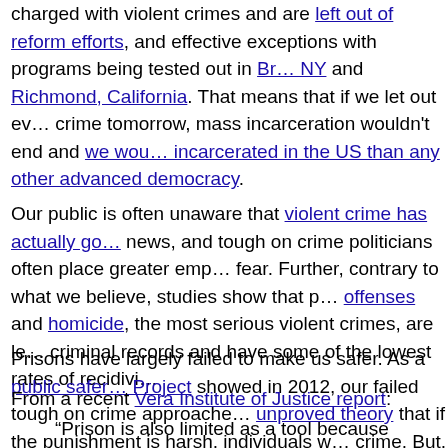charged with violent crimes and are left out of reform efforts, and effective exceptions with programs being tested out in Buffalo NY and Richmond, California. That means that if we let out every person convicted of a nonviolent crime tomorrow, mass incarceration wouldn't end and we would still have more people incarcerated in the US than any other advanced democracy.
Our public is often unaware that violent crime has actually gone down, news, and tough on crime politicians often place greater emphasis on fear. Further, contrary to what we believe, studies show that people who commit sex offenses and homicide, the most serious violent crimes, are least likely to have criminal records and have some of the lowest rates of recidivism.
Prisons have largely failed to make us safer. As a public safety Project showed in 2012, our failed tough on crime approaches rest on an unproved theory that if the punishment is harsh, individuals won't commit crime. But, these policies fail to recognize the underlying reasons as to why people, and specifically young people living in poverty, engage in and or behavior that leads to violent acts.
From a recent Vera Institute of Justice report:
“Prison is also limited as a tool because incarceration treats the problem of ‘dangerous’ individuals and not as a problem of history. Most violence is not just a matter of individual